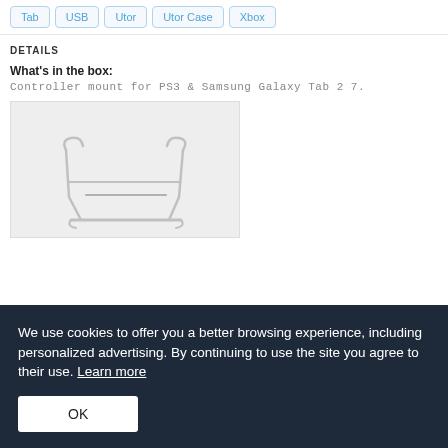Tab
USB
Utor
Utor Case
Xbox
DETAILS
What's in the box:
Controller mount for PS3 & Samsung Galaxy Tab 2 7.
[Figure (photo): A white/silver wire controller mount stand for PS3 and Samsung Galaxy Tab, photographed on a light gray background.]
We use cookies to offer you a better browsing experience, including personalized advertising. By continuing to use the site you agree to their use. Learn more
OK